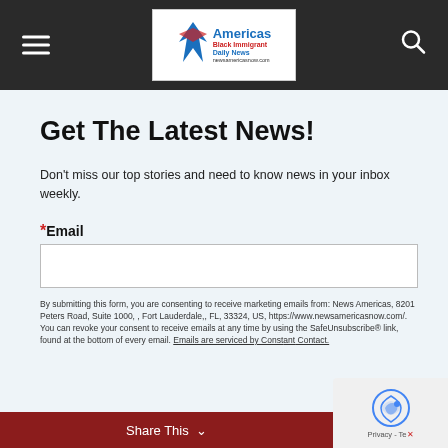News Americas - Black Immigrant Daily News
Get The Latest News!
Don't miss our top stories and need to know news in your inbox weekly.
*Email
By submitting this form, you are consenting to receive marketing emails from: News Americas, 8201 Peters Road, Suite 1000, , Fort Lauderdale,, FL, 33324, US, https://www.newsamericasnow.com/. You can revoke your consent to receive emails at any time by using the SafeUnsubscribe® link, found at the bottom of every email. Emails are serviced by Constant Contact.
Share This  Sign up!